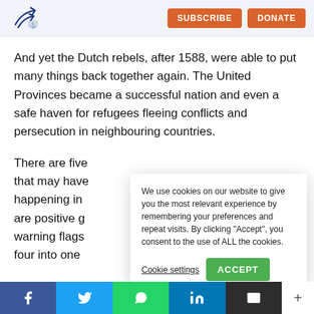SUBSCRIBE   DONATE
And yet the Dutch rebels, after 1588, were able to put many things back together again. The United Provinces became a successful nation and even a safe haven for refugees fleeing conflicts and persecution in neighbouring countries.
There are five ... that may have ... happening in ... are positive g... warning flags... four into one...
We use cookies on our website to give you the most relevant experience by remembering your preferences and repeat visits. By clicking “Accept”, you consent to the use of ALL the cookies.
Cookie settings   ACCEPT